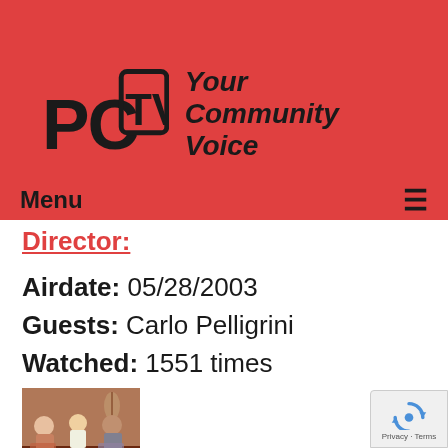[Figure (logo): PCTV logo with text 'Your Community Voice' on red background]
Menu ≡
Director:
Airdate: 05/28/2003
Guests: Carlo Pelligrini
Watched: 1551 times
[Figure (photo): TV show thumbnail showing three people seated in a studio setting]
Carolyn Burke: